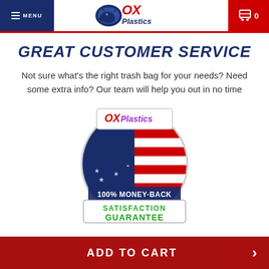MENU | OX Plastics | Cart 0
GREAT CUSTOMER SERVICE
Not sure what's the right trash bag for your needs? Need some extra info? Our team will help you out in no time
[Figure (logo): OX Plastics 100% Money-Back Satisfaction Guarantee badge with American flag background]
ADD TO CART